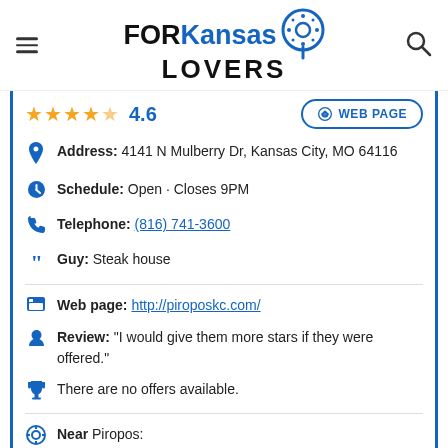FOR Kansas LOVERS (logo with pin icon)
4.6 (rating with stars) WEB PAGE
Address: 4141 N Mulberry Dr, Kansas City, MO 64116
Schedule: Open · Closes 9PM
Telephone: (816) 741-3600
Guy: Steak house
Web page: http://piroposkc.com/
Review: "I would give them more stars if they were offered."
There are no offers available.
Near Piropos: